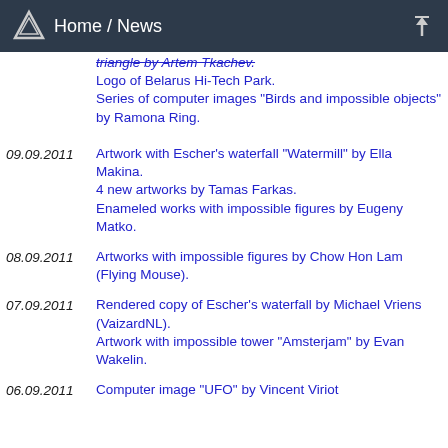Home / News
triangle by Artem Tkachev.
Logo of Belarus Hi-Tech Park.
Series of computer images "Birds and impossible objects" by Ramona Ring.
09.09.2011 Artwork with Escher's waterfall "Watermill" by Ella Makina.
4 new artworks by Tamas Farkas.
Enameled works with impossible figures by Eugeny Matko.
08.09.2011 Artworks with impossible figures by Chow Hon Lam (Flying Mouse).
07.09.2011 Rendered copy of Escher's waterfall by Michael Vriens (VaizardNL).
Artwork with impossible tower "Amsterjam" by Evan Wakelin.
06.09.2011 Computer image "UFO" by Vincent Viriot